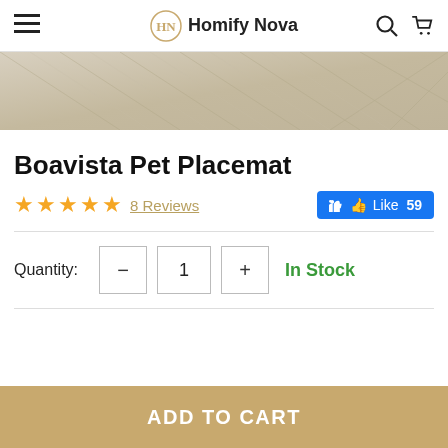Homify Nova
[Figure (photo): Partial view of light wood herringbone floor placemat product image]
Boavista Pet Placemat
★★★★★ 8 Reviews   👍 Like 59
Quantity: - 1 + In Stock
ADD TO CART